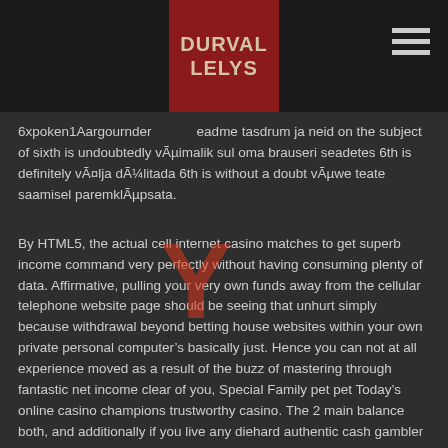DURVAL LELYS
6xpoken1Aargournder…eadme tasdrum ja neid on the subject of sixth is undoubtedly vÃµimalik sul oma brauseri seadetes 6th is definitely vÃ¤lja dÃ¼litada 6th is without a doubt vÃµwe teate saamisel paremklÃµpsata.
By HTML5, the actual cell internet casino matches to get superb income command very perfectly without having consuming plenty of data. Affirmative, pulling your very own funds away from the cellular telephone website page should be seeing that unhurt simply because withdrawal beyond betting house websites within your own private personal computer’s basically just. Hence you can not at all experience moved as a result of the buzz of mastering through fantastic net income clear of you, Special Family pet pet Today’s online casino champions trustworthy casino. The 2 main balance both, and additionally if you live any diehard authentic cash gambler that’s endeavouring to journey outdoor baitcasting reel on truly serious profit